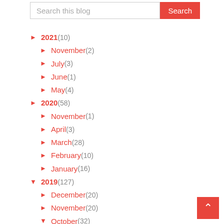Search this blog / Search
► 2021 (10)
► November (2)
► July (3)
► June (1)
► May (4)
► 2020 (58)
► November (1)
► April (3)
► March (28)
► February (10)
► January (16)
▼ 2019 (127)
► December (20)
► November (20)
▼ October (32)
... | see you mobil...
mobile tricks tamil | 100 android tricks app | mo...
... | frien...
Tamil Blu-ray movies 2019, Tamil 4K movies, Tamil ...
...? | mobile...
... 2019 | Income tax em...
... | driving lice...
... | DSRVS JOB | ண...
...
Tamil nadu Gazette Name Change, stationery and